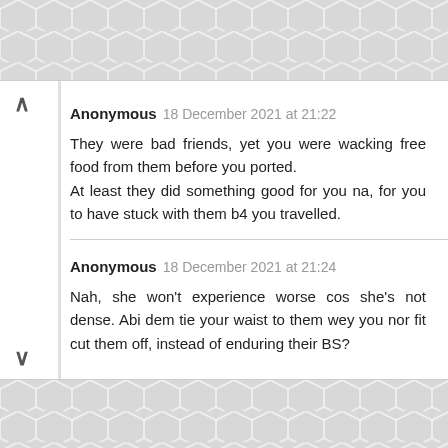[Figure (other): Hexagonal tile background pattern at top]
Anonymous 18 December 2021 at 21:22
They were bad friends, yet you were wacking free food from them before you ported.
At least they did something good for you na, for you to have stuck with them b4 you travelled.
Anonymous 18 December 2021 at 21:24
Nah, she won't experience worse cos she's not dense. Abi dem tie your waist to them wey you nor fit cut them off, instead of enduring their BS?
[Figure (other): Hexagonal tile background pattern at bottom]